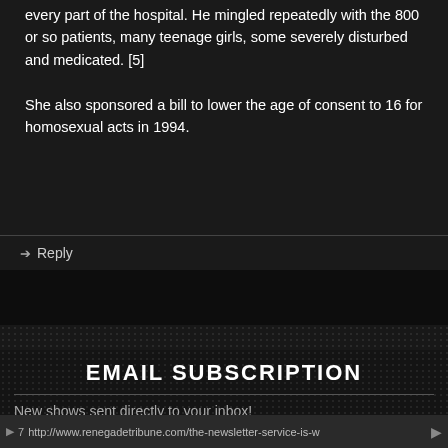every part of the hospital. He mingled repeatedly with the 800 or so patients, many teenage girls, some severely disturbed and medicated. [5]
She also sponsored a bill to lower the age of consent to 16 for homosexual acts in 1994.
Reply
EMAIL SUBSCRIPTION
New shows sent directly to your inbox!
7 http://www.renegadetribune.com/the-newsletter-service-is-w